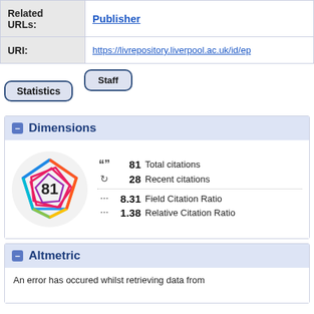| Field | Value |
| --- | --- |
| Related URLs: | Publisher |
| URI: | https://livrepository.liverpool.ac.uk/id/ep... |
[Figure (screenshot): Two tab buttons: 'Staff' and 'Statistics' overlapping, with rounded rectangle style, dark blue border on light blue-gray background.]
Dimensions
[Figure (infographic): Dimensions citation badge showing a colorful pentagon/hexagon shape with '81' in the center, surrounded by citation stats: 81 Total citations, 28 Recent citations, 8.31 Field Citation Ratio, 1.38 Relative Citation Ratio.]
Altmetric
An error has occured whilst retrieving data from